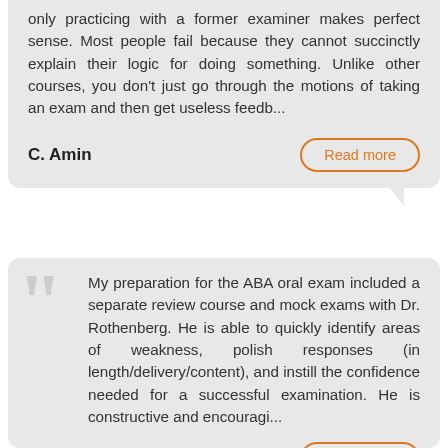only practicing with a former examiner makes perfect sense. Most people fail because they cannot succinctly explain their logic for doing something. Unlike other courses, you don't just go through the motions of taking an exam and then get useless feedb...
C. Amin
Read more
My preparation for the ABA oral exam included a separate review course and mock exams with Dr. Rothenberg. He is able to quickly identify areas of weakness, polish responses (in length/delivery/content), and instill the confidence needed for a successful examination. He is constructive and encouragi...
Evan S
Read more